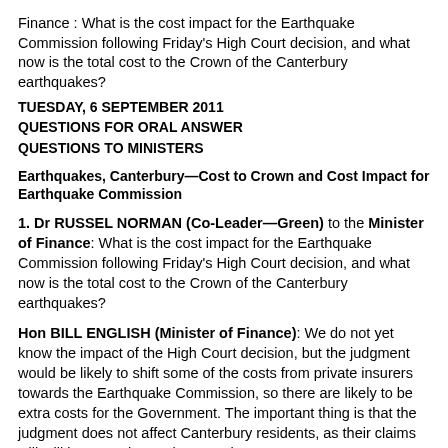Finance : What is the cost impact for the Earthquake Commission following Friday's High Court decision, and what now is the total cost to the Crown of the Canterbury earthquakes?
TUESDAY, 6 SEPTEMBER 2011
QUESTIONS FOR ORAL ANSWER
QUESTIONS TO MINISTERS
Earthquakes, Canterbury—Cost to Crown and Cost Impact for Earthquake Commission
1. Dr RUSSEL NORMAN (Co-Leader—Green) to the Minister of Finance: What is the cost impact for the Earthquake Commission following Friday's High Court decision, and what now is the total cost to the Crown of the Canterbury earthquakes?
Hon BILL ENGLISH (Minister of Finance): We do not yet know the impact of the High Court decision, but the judgment would be likely to shift some of the costs from private insurers towards the Earthquake Commission, so there are likely to be extra costs for the Government. The important thing is that the judgment does not affect Canterbury residents, as their claims will still be met. The total cost to the Crown